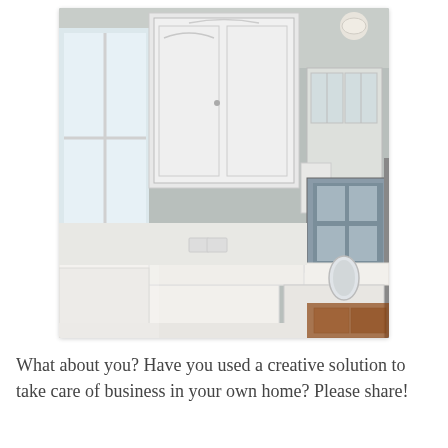[Figure (photo): Interior kitchen photo showing white cabinets, white countertops, a bowl of green apples, a farmhouse sink, dishwasher, and a door leading to an adjacent room with terracotta tile floor. A window on the left lets in natural light.]
What about you? Have you used a creative solution to take care of business in your own home?  Please share!